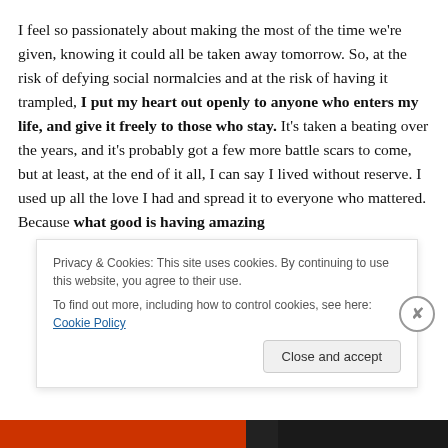I feel so passionately about making the most of the time we're given, knowing it could all be taken away tomorrow. So, at the risk of defying social normalcies and at the risk of having it trampled, I put my heart out openly to anyone who enters my life, and give it freely to those who stay. It's taken a beating over the years, and it's probably got a few more battle scars to come, but at least, at the end of it all, I can say I lived without reserve. I used up all the love I had and spread it to everyone who mattered. Because what good is having amazing
Privacy & Cookies: This site uses cookies. By continuing to use this website, you agree to their use. To find out more, including how to control cookies, see here: Cookie Policy
Close and accept